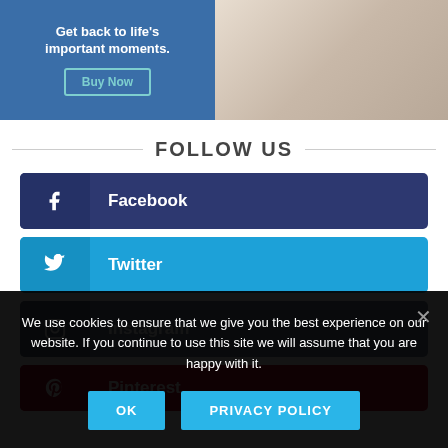[Figure (screenshot): Advertisement banner with blue background on left showing 'Get back to life's important moments.' with a Buy Now button, and a photo of a person on the right]
FOLLOW US
Facebook
Twitter
Instagram
Pinterest
We use cookies to ensure that we give you the best experience on our website. If you continue to use this site we will assume that you are happy with it.
OK | PRIVACY POLICY